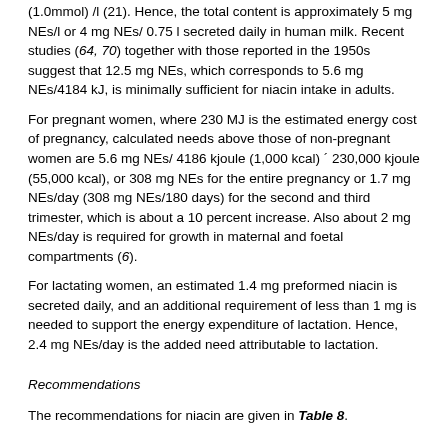(1.0mmol) /l (21). Hence, the total content is approximately 5 mg NEs/l or 4 mg NEs/ 0.75 l secreted daily in human milk. Recent studies (64, 70) together with those reported in the 1950s suggest that 12.5 mg NEs, which corresponds to 5.6 mg NEs/4184 kJ, is minimally sufficient for niacin intake in adults.
For pregnant women, where 230 MJ is the estimated energy cost of pregnancy, calculated needs above those of non-pregnant women are 5.6 mg NEs/ 4186 kjoule (1,000 kcal) ´ 230,000 kjoule (55,000 kcal), or 308 mg NEs for the entire pregnancy or 1.7 mg NEs/day (308 mg NEs/180 days) for the second and third trimester, which is about a 10 percent increase. Also about 2 mg NEs/day is required for growth in maternal and foetal compartments (6).
For lactating women, an estimated 1.4 mg preformed niacin is secreted daily, and an additional requirement of less than 1 mg is needed to support the energy expenditure of lactation. Hence, 2.4 mg NEs/day is the added need attributable to lactation.
Recommendations
The recommendations for niacin are given in Table 8.
Table 8